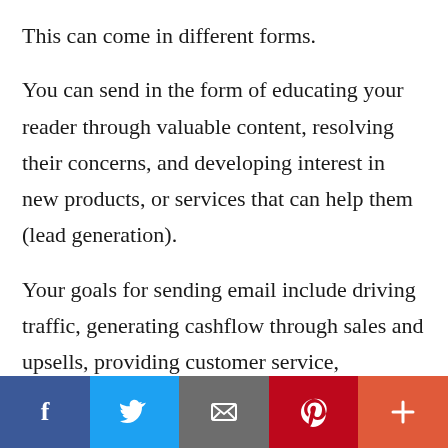This can come in different forms.
You can send in the form of educating your reader through valuable content, resolving their concerns, and developing interest in new products, or services that can help them (lead generation).
Your goals for sending email include driving traffic, generating cashflow through sales and upsells, providing customer service, improving retention, or strengthening loyalty.
[Figure (infographic): Social sharing bar with five buttons: Facebook (dark blue), Twitter (light blue), Email (gray), Pinterest (red), and More/Plus (orange-red)]